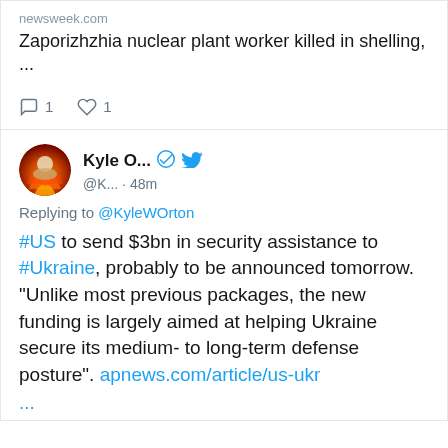newsweek.com
Zaporizhzhia nuclear plant worker killed in shelling, ...
1 comment, 1 like
Kyle O... @K... · 48m
Replying to @KyleWOrton
#US to send $3bn in security assistance to #Ukraine, probably to be announced tomorrow. "Unlike most previous packages, the new funding is largely aimed at helping Ukraine secure its medium- to long-term defense posture". apnews.com/article/us-ukr ...